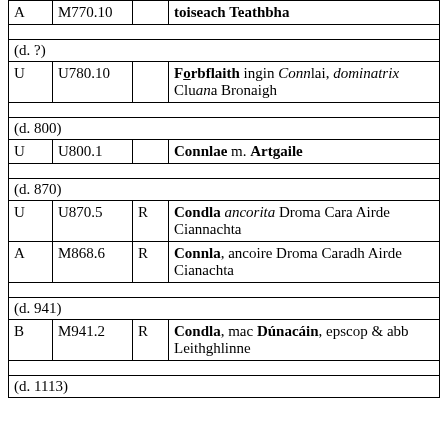|  |  |  |  |
| --- | --- | --- | --- |
| A | M770.10 |  | toiseach Teathbha |
|  |  |  |  |
| (d. ?) |  |  |  |
| U | U780.10 |  | Forbflaith ingin Connlai, dominatrix Cluana Bronaigh |
|  |  |  |  |
| (d. 800) |  |  |  |
| U | U800.1 |  | Connlae m. Artgaile |
|  |  |  |  |
| (d. 870) |  |  |  |
| U | U870.5 | R | Condla ancorita Droma Cara Airde Ciannachta |
| A | M868.6 | R | Connla, ancoire Droma Caradh Airde Cianachta |
|  |  |  |  |
| (d. 941) |  |  |  |
| B | M941.2 | R | Condla, mac Dúnacáin, epscop & abb Leithghlinne |
|  |  |  |  |
| (d. 1113) |  |  |  |